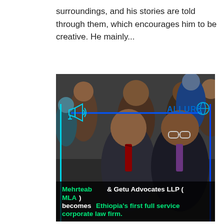surroundings, and his stories are told through them, which encourages him to be creative. He mainly...
[Figure (photo): A photograph of two men in suits smiling and shaking hands at a formal event, surrounded by a crowd of people. An overlay with cyan/blue decorative lines and an 'ALLURE' logo with a megaphone icon is visible on the image. At the bottom of the image is a text overlay reading: 'Mehrteab & Getu Advocates LLP (MLA) becomes Ethiopia's first full service corporate law firm.']